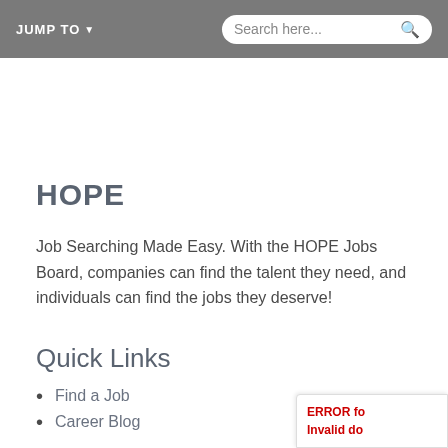JUMP TO  Search here...
HOPE
Job Searching Made Easy. With the HOPE Jobs Board, companies can find the talent they need, and individuals can find the jobs they deserve!
Quick Links
Find a Job
Career Blog